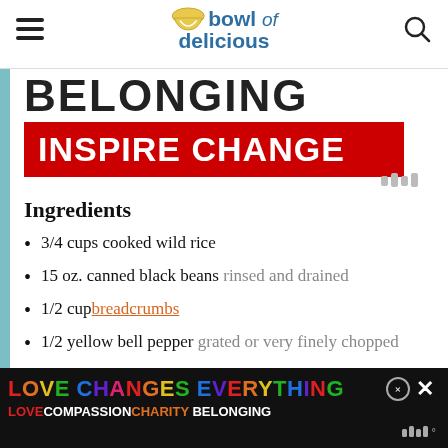bowl of delicious
BELONGING
INSPIRE CHANGE
Ingredients
3/4 cups cooked wild rice
15 oz. canned black beans rinsed and drained
1/2 cup breadcrumbs
1/2 yellow bell pepper grated or very finely chopped
1/2 small yellow onion grated
LOVE CHANGES EVERYTHING
LOVE COMPASSION CHARITY BELONGING